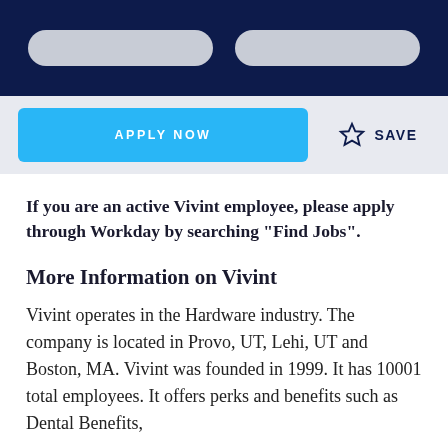[navigation bar with two pill buttons]
APPLY NOW   ☆ SAVE
If you are an active Vivint employee, please apply through Workday by searching "Find Jobs".
More Information on Vivint
Vivint operates in the Hardware industry. The company is located in Provo, UT, Lehi, UT and Boston, MA. Vivint was founded in 1999. It has 10001 total employees. It offers perks and benefits such as Dental Benefits,